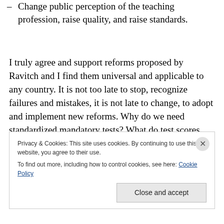Change public perception of the teaching profession, raise quality, and raise standards.
I truly agree and support reforms proposed by Ravitch and I find them universal and applicable to any country. It is not too late to stop, recognize failures and mistakes, it is not late to change, to adopt and implement new reforms. Why do we need standardized mandatory tests? What do test scores prove? This international race should find an end
Privacy & Cookies: This site uses cookies. By continuing to use this website, you agree to their use.
To find out more, including how to control cookies, see here: Cookie Policy